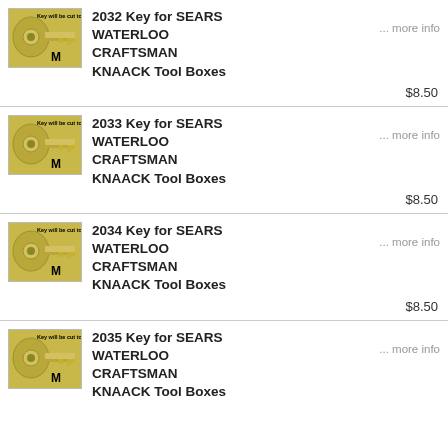[Figure (photo): Photo of a brass key with text 'Key will be cut to code' and a logo]
2032 Key for SEARS WATERLOO CRAFTSMAN KNAACK Tool Boxes
... more info
$8.50
[Figure (photo): Photo of a brass key with text 'Key will be cut to code' and a logo]
2033 Key for SEARS WATERLOO CRAFTSMAN KNAACK Tool Boxes
... more info
$8.50
[Figure (photo): Photo of a brass key with text 'Key will be cut to code' and a logo]
2034 Key for SEARS WATERLOO CRAFTSMAN KNAACK Tool Boxes
... more info
$8.50
[Figure (photo): Photo of a brass key with text 'Key will be cut to code' and a logo]
2035 Key for SEARS WATERLOO CRAFTSMAN KNAACK Tool Boxes
... more info